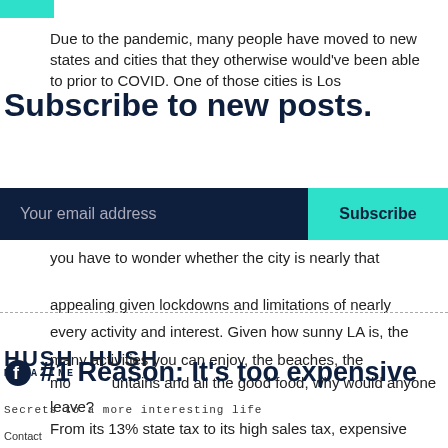Due to the pandemic, many people have moved to new states and cities that they otherwise would've been able to prior to COVID. One of those cities is Los
Subscribe to new posts.
Your email address
Subscribe
you have to wonder whether the city is nearly that appealing given lockdowns and limitations of nearly every activity and interest. Given how sunny LA is, the many activities you can enjoy, the beaches, the mountains and all the good food, why would anyone leave?
[Figure (logo): HUSH HUSH magazine logo with tagline 'Secrets to a more interesting life']
#1 Reason: It's too expensive
From its 13% state tax to its high sales tax, expensive